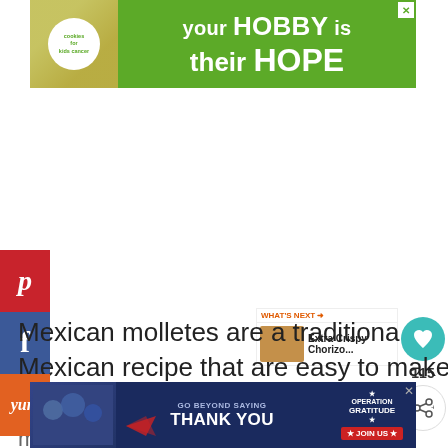[Figure (infographic): Advertisement banner at top: green background with cookies for kids cancer logo (circle with 'cookies for kids cancer' text), hands holding a heart cookie, and text 'your HOBBY is their HOPE']
[Figure (infographic): Red Pinterest social share button with 'p' icon]
[Figure (infographic): Dark blue Facebook social share button with 'f' icon]
[Figure (infographic): Light blue Twitter social share button with bird icon]
[Figure (infographic): Orange Yummly social share button with 'yum' text]
[Figure (infographic): Teal circular heart/like button with count 115 below it, and a share icon button below]
[Figure (infographic): WHAT'S NEXT callout with fried food thumbnail and text 'Extra Crispy Chorizo...']
Mexican molletes are a traditional Mexican recipe that are easy to make and don't m they
[Figure (infographic): Bottom advertisement banner: dark blue background with Operation Gratitude logo, people photo, text 'GO BEYOND SAYING THANK YOU' and 'JOIN US' button]